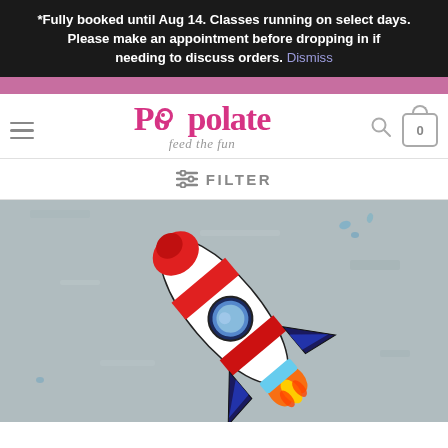*Fully booked until Aug 14. Classes running on select days. Please make an appointment before dropping in if needing to discuss orders. Dismiss
[Figure (logo): Popolate 'feed the fun' logo in pink script with navigation hamburger menu, search icon, and cart icon showing 0 items]
≡ FILTER
[Figure (photo): A colorful rocket ship toy/decoration against a grey textured background. The rocket is white with red accents, a blue porthole window, and has orange and yellow flames at the bottom.]